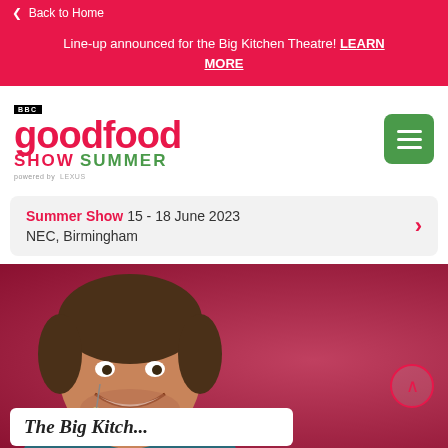Back to Home
Line-up announced for the Big Kitchen Theatre! LEARN MORE
[Figure (logo): BBC Good Food Show Summer logo with Lexus sponsorship, green hamburger menu button]
Summer Show 15 - 18 June 2023 NEC, Birmingham
[Figure (photo): Smiling man with headset microphone at cooking show event, red/pink blurred background]
The Big Kitch...
STAND ENQUIRY
SIGN UP TO THE NEWSLETTER